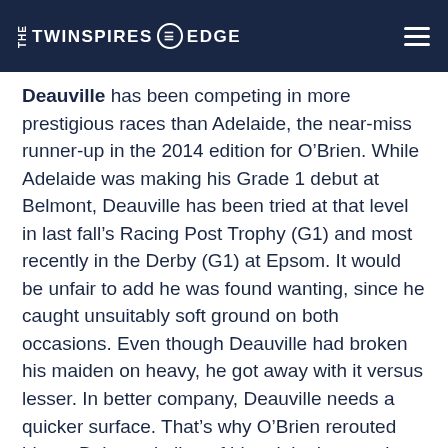THE TWINSPIRES EDGE
Deauville has been competing in more prestigious races than Adelaide, the near-miss runner-up in the 2014 edition for O’Brien. While Adelaide was making his Grade 1 debut at Belmont, Deauville has been tried at that level in last fall’s Racing Post Trophy (G1) and most recently in the Derby (G1) at Epsom. It would be unfair to add he was found wanting, since he caught unsuitably soft ground on both occasions. Even though Deauville had broken his maiden on heavy, he got away with it versus lesser. In better company, Deauville needs a quicker surface. That’s why O’Brien rerouted him to Belmont in lieu of his original target, last Saturday’s Eclipse (G1) at Sandown.